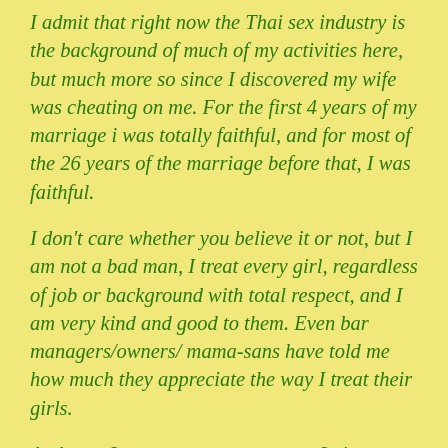I admit that right now the Thai sex industry is the background of much of my activities here, but much more so since I discovered my wife was cheating on me. For the first 4 years of my marriage i was totally faithful, and for most of the 26 years of the marriage before that, I was faithful.
I don't care whether you believe it or not, but I am not a bad man, I treat every girl, regardless of job or background with total respect, and I am very kind and good to them. Even bar managers/owners/ mama-sans have told me how much they appreciate the way I treat their girls.
And no – I never resent any money I give to any girl for any purpose. They are very welcome to it and I never regret it. They all need it more than I